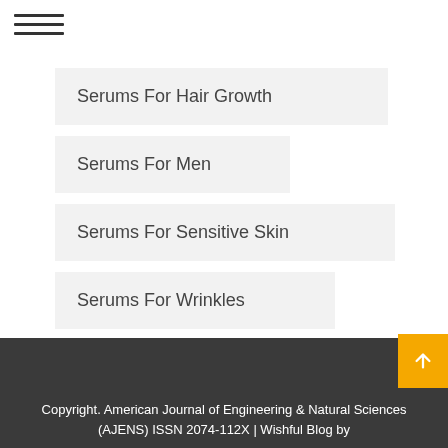Serums For Hair Growth
Serums For Men
Serums For Sensitive Skin
Serums For Wrinkles
Serums In Anoka
Copyright. American Journal of Engineering & Natural Sciences (AJENS) ISSN 2074-112X | Wishful Blog by